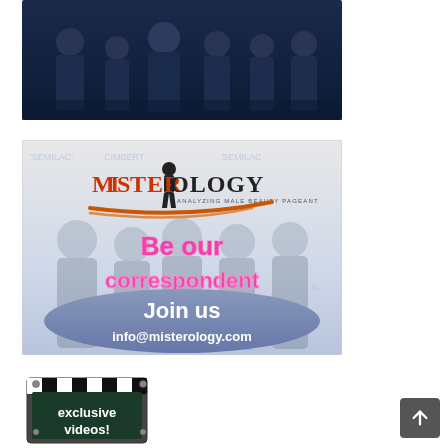[Figure (photo): Dark blue-toned group photo of men in suits/formal wear against a dark background]
[Figure (infographic): Misterology advertisement banner. Shows logo 'MISTEROLOGY - Analyzing Male Beauty Pageant' with orange underline swoosh, group of men in tuxedos in background, pink text 'Be our correspondent', blue oval with white text 'Join us' and 'info@misterology.com']
[Figure (illustration): Movie clapperboard icon with text 'exclusive videos!' on it]